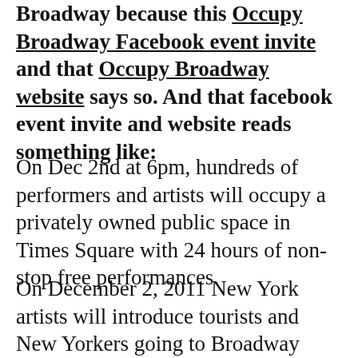Broadway because this Occupy Broadway Facebook event invite and that Occupy Broadway website says so. And that facebook event invite and website reads something like:
On Dec 2nd at 6pm, hundreds of performers and artists will occupy a privately owned public space in Times Square with 24 hours of non-stop free performances.
On December 2, 2011 New York artists will introduce tourists and New Yorkers going to Broadway shows or shopping themselves into this world of performance.